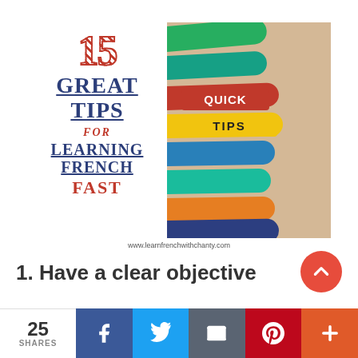[Figure (infographic): Infographic titled '15 Great Tips for Learning French Fast' with colorful popsicle sticks on the right side labeled 'Quick Tips' and website URL www.learnfrenchwithchanty.com]
www.learnfrenchwithchanty.com
1. Have a clear objective
25 SHARES | Facebook | Twitter | Email | Pinterest | Plus